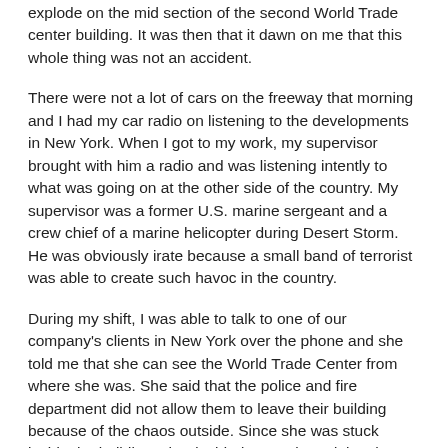explode on the mid section of the second World Trade center building. It was then that it dawn on me that this whole thing was not an accident.
There were not a lot of cars on the freeway that morning and I had my car radio on listening to the developments in New York. When I got to my work, my supervisor brought with him a radio and was listening intently to what was going on at the other side of the country. My supervisor was a former U.S. marine sergeant and a crew chief of a marine helicopter during Desert Storm. He was obviously irate because a small band of terrorist was able to create such havoc in the country.
During my shift, I was able to talk to one of our company's clients in New York over the phone and she told me that she can see the World Trade Center from where she was. She said that the police and fire department did not allow them to leave their building because of the chaos outside. Since she was stuck inside the building, she decided to continue doing the payroll of their company.
During the next few days after the 9/11 terrorist attacks,